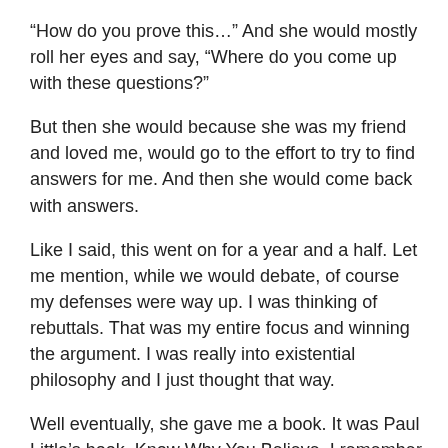“How do you prove this…” And she would mostly roll her eyes and say, “Where do you come up with these questions?”
But then she would because she was my friend and loved me, would go to the effort to try to find answers for me. And then she would come back with answers.
Like I said, this went on for a year and a half. Let me mention, while we would debate, of course my defenses were way up. I was thinking of rebuttals. That was my entire focus and winning the argument. I was really into existential philosophy and I just thought that way.
Well eventually, she gave me a book. It was Paul Little’s book, Know Why You Believe. I remember I was on my own, I was away from her. And alone, my defenses could